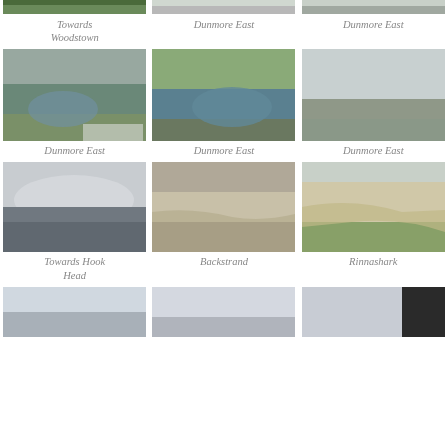[Figure (photo): Aerial photo cropped at top - Towards Woodstown]
[Figure (photo): Aerial photo cropped at top - Dunmore East]
[Figure (photo): Aerial photo cropped at top - Dunmore East]
Towards Woodstown
Dunmore East
Dunmore East
[Figure (photo): Aerial photo of coastline - Dunmore East]
[Figure (photo): Aerial photo of coastline - Dunmore East]
[Figure (photo): Aerial photo of coastline - Dunmore East]
Dunmore East
Dunmore East
Dunmore East
[Figure (photo): Aerial photo of sea/sky - Towards Hook Head]
[Figure (photo): Aerial photo of estuary/sand - Backstrand]
[Figure (photo): Aerial photo of sand/coast - Rinnashark]
Towards Hook Head
Backstrand
Rinnashark
[Figure (photo): Aerial photo cropped at bottom]
[Figure (photo): Aerial photo cropped at bottom]
[Figure (photo): Aerial photo cropped at bottom]